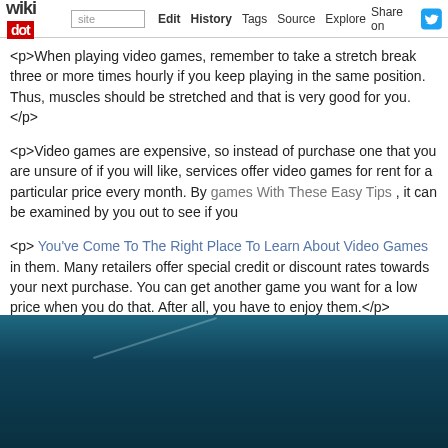wikidot | site | Edit | History | Tags | Source | Explore | Share on Twitter
<p>When playing video games, remember to take a stretch break three or more times hourly if you keep playing in the same position. Thus, muscles should be stretched and that is very good for you.</p>
<p>Video games are expensive, so instead of purchase one that you are unsure of if you will like, services offer video games for rent for a particular price every month. By games With These Easy Tips , it can be examined by you out to see if you</p>
<p> You've Come To The Right Place To Learn About Video Games in them. Many retailers offer special credit or discount rates towards your next purchase. You can get another game you want for a low price when you do that. After all, you have to enjoy them.</p>
<p>For parents, video gaming can present an authentic conundrum. Your kids want to play the greatest games that their friends are discussing, but you want some control over what they see. The simple: Execute a little multi-player gaming with your children! Play as with your children to see what they are seeing and doing.</p>
[Figure (photo): Dark teal/blue ocean or sky background image, partially visible at bottom of page]